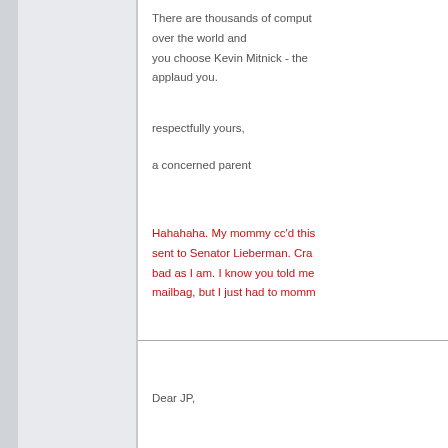There are thousands of computers all over the world and you choose Kevin Mitnick - the applaud you.
respectfully yours,
a concerned parent
Hahahaha. My mommy cc'd this sent to Senator Lieberman. Cra bad as I am. I know you told me mailbag, but I just had to momm
Dear JP,